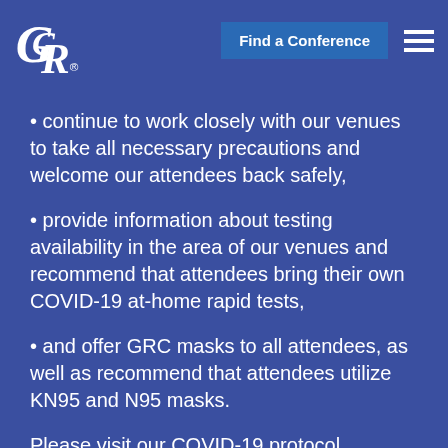[Figure (logo): GRC logo in white italic letters with registered trademark symbol]
Find a Conference
continue to work closely with our venues to take all necessary precautions and welcome our attendees back safely,
provide information about testing availability in the area of our venues and recommend that attendees bring their own COVID-19 at-home rapid tests,
and offer GRC masks to all attendees, as well as recommend that attendees utilize KN95 and N95 masks.
Please visit our COVID-19 protocol